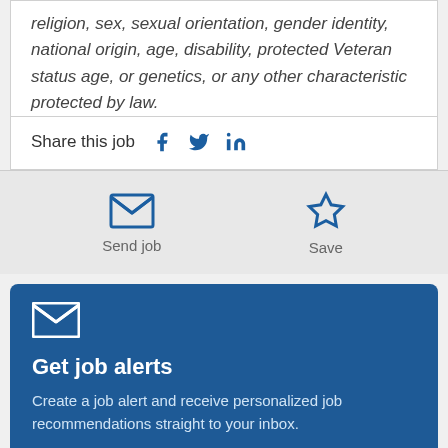religion, sex, sexual orientation, gender identity, national origin, age, disability, protected Veteran status age, or genetics, or any other characteristic protected by law.
Share this job
Send job
Save
Get job alerts
Create a job alert and receive personalized job recommendations straight to your inbox.
Create alert